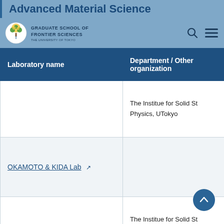Advanced Material Science
[Figure (logo): Graduate School of Frontier Sciences, The University of Tokyo logo with tree icon]
| Laboratory name | Department / Other organization |
| --- | --- |
|  | The Institue for Solid St Physics, UTokyo |
| OKAMOTO & KIDA Lab [external link] |  |
|  | The Institue for Solid St Physics, UTokyo |
|  |  |